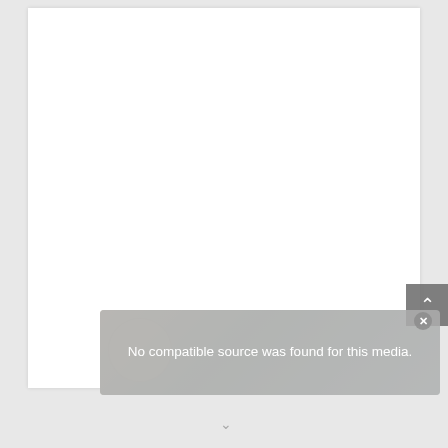[Figure (screenshot): A web browser page screenshot showing a white content panel on a light grey background. A video player overlay is visible in the lower portion displaying the message 'No compatible source was found for this media.' on a semi-transparent grey background, with a close button (X) in the top-right corner. A scroll-to-top button with an upward chevron arrow is visible on the right side. A small downward chevron arrow is visible at the bottom center.]